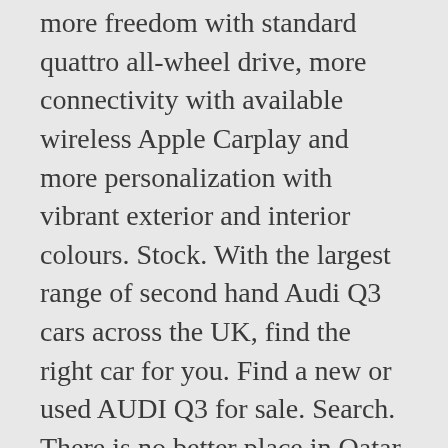more freedom with standard quattro all-wheel drive, more connectivity with available wireless Apple Carplay and more personalization with vibrant exterior and interior colours. Stock. With the largest range of second hand Audi Q3 cars across the UK, find the right car for you. Find a new or used AUDI Q3 for sale. Search. There is no better place in Qatar to search for your next car. 1,427 cars for sale. A1. 1,074 cars for sale. Shop Audi Q3 vehicles for sale in San Francisco, CA at Cars.com. 2021 Audi Q3 1.00 2020 Audi Q3 58.00 2019 Audi Q3 31.00 2018 Audi Q3 176.00 2017 Audi Q3 109.00 2016 Audi Q3 109.00 2015 Audi Q3 47.00 Shop New Audi Q3. 2014 Audi Q3 For Sale. Import Q3 AUDI Q3 2.0 A for US$10,200 directly from Japanese